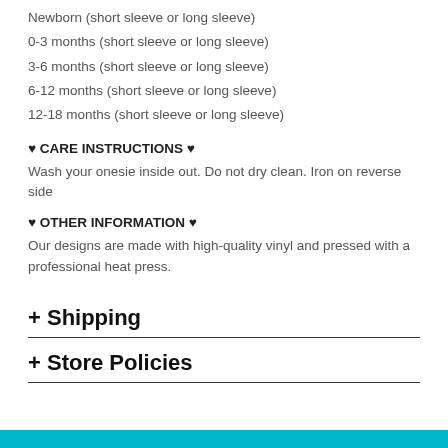Newborn (short sleeve or long sleeve)
0-3 months (short sleeve or long sleeve)
3-6 months (short sleeve or long sleeve)
6-12 months (short sleeve or long sleeve)
12-18 months (short sleeve or long sleeve)
♥ CARE INSTRUCTIONS ♥
Wash your onesie inside out. Do not dry clean. Iron on reverse side
♥ OTHER INFORMATION ♥
Our designs are made with high-quality vinyl and pressed with a professional heat press.
+ Shipping
+ Store Policies